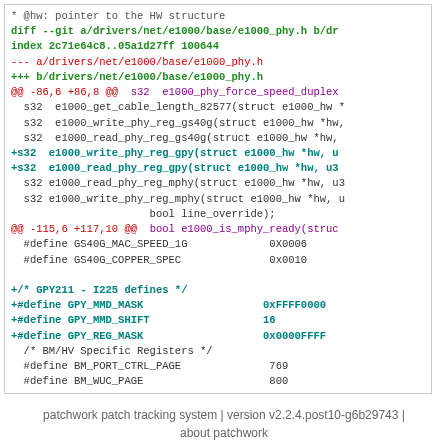code diff showing e1000 phy header changes including new GPY211/I225 defines
patchwork patch tracking system | version v2.2.4.post10-g6b29743 | about patchwork